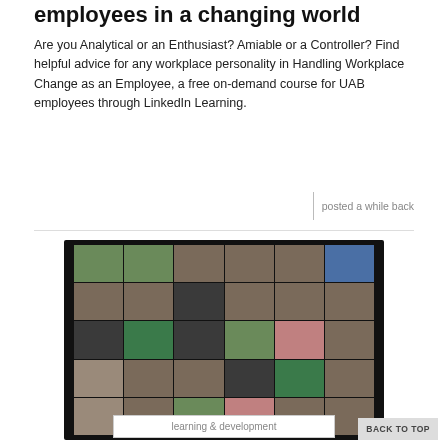employees in a changing world
Are you Analytical or an Enthusiast? Amiable or a Controller? Find helpful advice for any workplace personality in Handling Workplace Change as an Employee, a free on-demand course for UAB employees through LinkedIn Learning.
posted a while back
[Figure (photo): Screenshot of a Zoom video call with approximately 30 participants visible in a grid layout. Multiple participants are shown in individual video tiles, some with UAB campus backgrounds.]
learning & development
BACK TO TOP